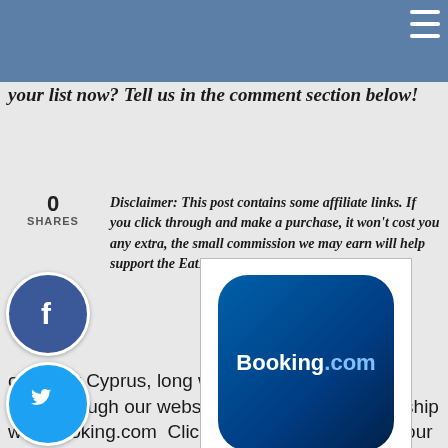Have you been to Cyprus? Where did you visit and what was a highlight? If you haven't been, is it on your list now? Tell us in the comment section below!
0
SHARES
Disclaimer: This post contains some affiliate links. If you click through and make a purchase, it won't cost you any extra, the small commission we may earn will help support the EatDoTravel community.
[Figure (logo): Facebook social share icon - blue circle with white f]
[Figure (logo): Twitter social share icon - cyan circle with white bird]
[Figure (logo): Booking.com logo in blue rounded square]
Book your Cyprus, long weekend or any holiday hotel through our website as we have a partnership with Booking.com  Click on the icon and book your room.